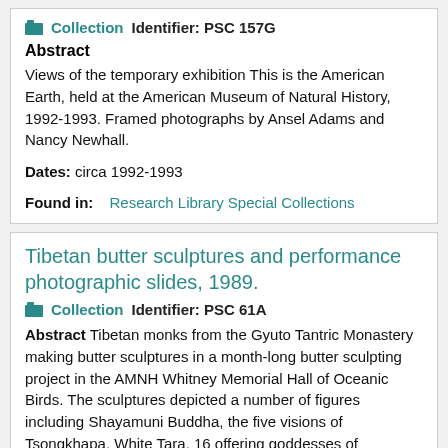Collection  Identifier: PSC 157G
Abstract
Views of the temporary exhibition This is the American Earth, held at the American Museum of Natural History, 1992-1993. Framed photographs by Ansel Adams and Nancy Newhall.
Dates: circa 1992-1993
Found in: Research Library Special Collections
Tibetan butter sculptures and performance photographic slides, 1989.
Collection  Identifier: PSC 61A
Abstract Tibetan monks from the Gyuto Tantric Monastery making butter sculptures in a month-long butter sculpting project in the AMNH Whitney Memorial Hall of Oceanic Birds. The sculptures depicted a number of figures including Shayamuni Buddha, the five visions of Tsongkhapa, White Tara, 16 offering goddesses of Chakrasamvara, four protector dieties, the seven ornaments of royalty and